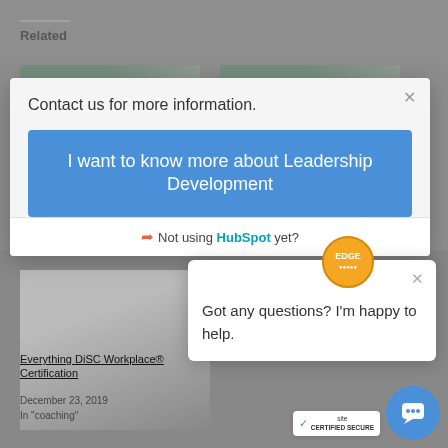Related
[Figure (screenshot): Modal popup: Contact us for more information, with a blue button 'I want to know more about Leadership Development' and HubSpot link]
Contact us for more information.
I want to know more about Leadership Development
Not using HubSpot yet?
[Figure (screenshot): Chat widget popup with EDGE badge logo and text: Got any questions? I'm happy to help.]
Got any questions? I'm happy to help.
Everything DiSC Workplace® Certification
December 23, 2019
In "coaching"